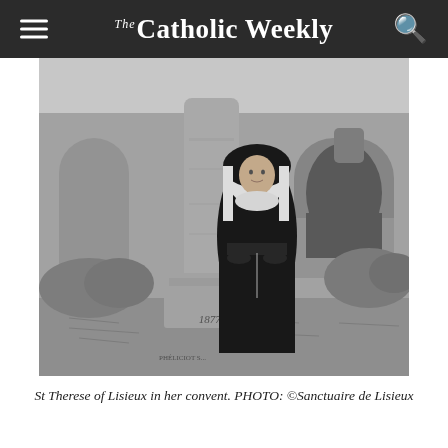The Catholic Weekly
[Figure (photo): Black and white photograph of St Therese of Lisieux in her Carmelite habit, standing beside a stone pillar and base marked '1877.' in a convent courtyard with arched architecture in the background.]
St Therese of Lisieux in her convent. PHOTO: ©Sanctuaire de Lisieux